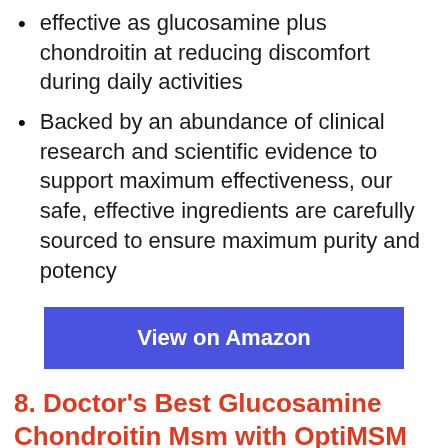effective as glucosamine plus chondroitin at reducing discomfort during daily activities
Backed by an abundance of clinical research and scientific evidence to support maximum effectiveness, our safe, effective ingredients are carefully sourced to ensure maximum purity and potency
[Figure (other): Blue 'View on Amazon' button]
8. Doctor's Best Glucosamine Chondroitin Msm with OptiMSM Capsules, Supports Healthy Joint Structure, Function &